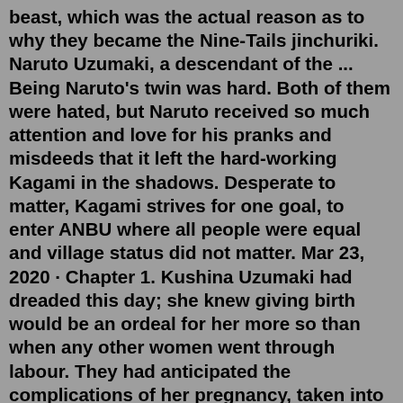beast, which was the actual reason as to why they became the Nine-Tails jinchuriki. Naruto Uzumaki, a descendant of the ... Being Naruto's twin was hard. Both of them were hated, but Naruto received so much attention and love for his pranks and misdeeds that it left the hard-working Kagami in the shadows. Desperate to matter, Kagami strives for one goal, to enter ANBU where all people were equal and village status did not matter. Mar 23, 2020 · Chapter 1. Kushina Uzumaki had dreaded this day; she knew giving birth would be an ordeal for her more so than when any other women went through labour. They had anticipated the complications of her pregnancy, taken into account the weakening of her seal and even kept time and location of it a secret. Being reborn in narutoverse is one thing, but being reborn in the body of Uzumaki Karin is a whole different thing entirely Naruto Uzumaki-Inuzuka - The Inuzukas meet the Uzumaki Wattpad In fact, Naruto might be the only Uzumaki left by the time the story begins Reborn as